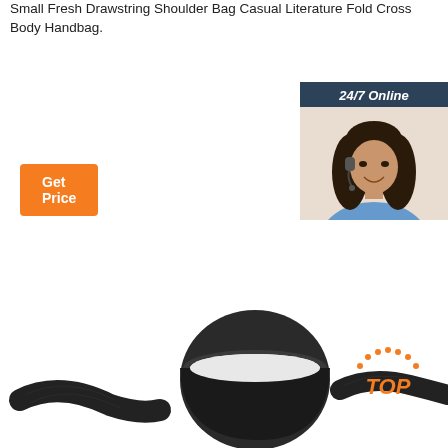Small Fresh Drawstring Shoulder Bag Casual Literature Fold Cross Body Handbag.
[Figure (other): Orange 'Get Price' button]
[Figure (other): 24/7 Online chat widget showing a customer service representative with headset, dark blue background, 'Click here for free chat!' text, and orange 'QUOTATION' button]
[Figure (photo): Product photo showing a dark/black wristwatch with nylon strap viewed from the side against a white background, with an orange 'TOP' badge in the lower right]
[Figure (infographic): Orange TOP badge with dotted arc above the text]